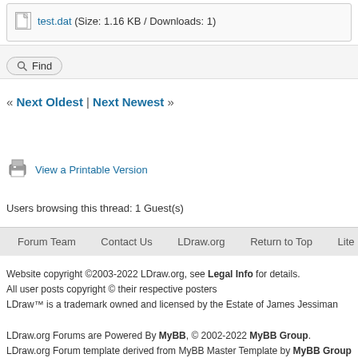test.dat (Size: 1.16 KB / Downloads: 1)
Find
« Next Oldest | Next Newest »
View a Printable Version
Users browsing this thread: 1 Guest(s)
Forum Team   Contact Us   LDraw.org   Return to Top   Lite (Archive) Mode   R
Website copyright ©2003-2022 LDraw.org, see Legal Info for details.
All user posts copyright © their respective posters
LDraw™ is a trademark owned and licensed by the Estate of James Jessiman

LDraw.org Forums are Powered By MyBB, © 2002-2022 MyBB Group.
LDraw.org Forum template derived from MyBB Master Template by MyBB Group
LEGO® is a registered trademark of the LEGO Group, which does not sponsor, endorse, c
LDraw is a completely unofficial, community run free CAD system which represents official